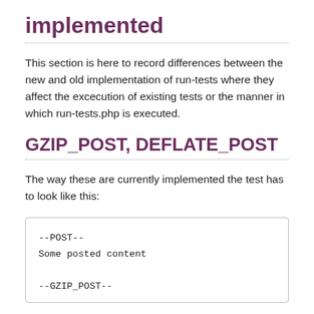implemented
This section is here to record differences between the new and old implementation of run-tests where they affect the excecution of existing tests or the manner in which run-tests.php is executed.
GZIP_POST, DEFLATE_POST
The way these are currently implemented the test has to look like this:
--POST--
Some posted content

--GZIP_POST--